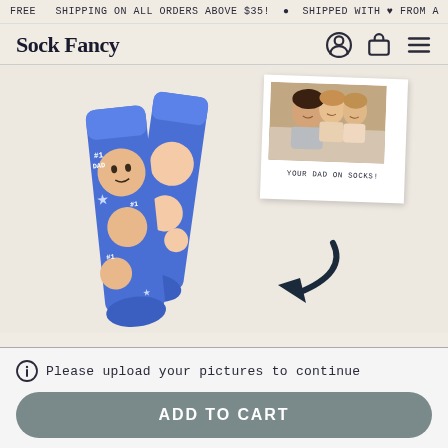FREE SHIPPING ON ALL ORDERS ABOVE $35! ● SHIPPED WITH ♥ FROM A
Sock Fancy
[Figure (photo): Blue custom face socks with #1 DAD text and a man's face printed all over them, shown as a pair of socks. Next to them is a Polaroid-style photo of a family (man and two women) with the label 'YOUR DAD ON SOCKS!' and a dark arrow pointing from the photo to the socks.]
ⓘ  Please upload your pictures to continue
ADD TO CART